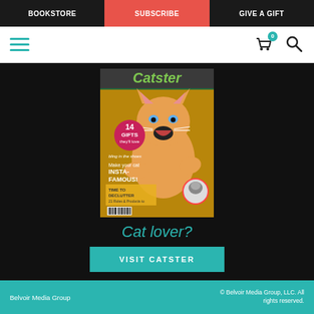BOOKSTORE | SUBSCRIBE | GIVE A GIFT
[Figure (screenshot): Navigation bar with hamburger menu icon in teal, shopping cart icon with badge showing 0, and search/magnifier icon]
[Figure (photo): Cover of Catster magazine showing an orange tabby kitten with mouth open, with text: 14 GIFTS they'll love, Make your cat INSTA-FAMOUS!, TIME TO DECLUTTER 21 Rules & Products to Simplify, Is Anorexia Normal?]
Cat lover?
VISIT CATSTER
Belvoir Media Group | © Belvoir Media Group, LLC. All rights reserved.